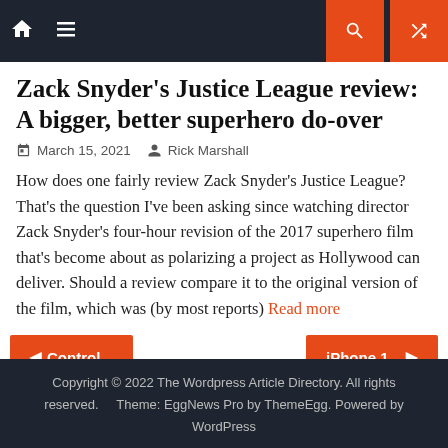Navigation bar with home, menu, search, and shuffle icons
Zack Snyder's Justice League review: A bigger, better superhero do-over
March 15, 2021   Rick Marshall
How does one fairly review Zack Snyder's Justice League? That's the question I've been asking since watching director Zack Snyder's four-hour revision of the 2017 superhero film that's become about as polarizing a project as Hollywood can deliver. Should a review compare it to the original version of the film, which was (by most reports)
Read more
◄ Control...
iPhone 1... ►
Copyright © 2022 The Wordpress Article Directory. All rights reserved. Theme: EggNews Pro by ThemeEgg. Powered by WordPress